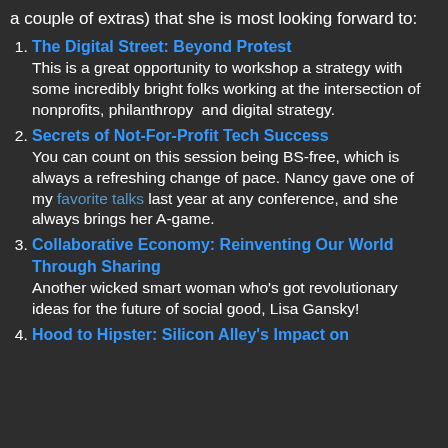a couple of extras) that she is most looking forward to:
The Digital Street: Beyond Protest
This is a great opportunity to workshop a strategy with some incredibly bright folks working at the intersection of nonprofits, philanthropy and digital strategy.
Secrets of Not-For-Profit Tech Success
You can count on this session being BS-free, which is always a refreshing change of pace. Nancy gave one of my favorite talks last year at any conference, and she always brings her A-game.
Collaborative Economy: Reinventing Our World Through Sharing
Another wicked smart woman who's got revolutionary ideas for the future of social good, Lisa Gansky!
Hood to Hipster: Silicon Alley's Impact on